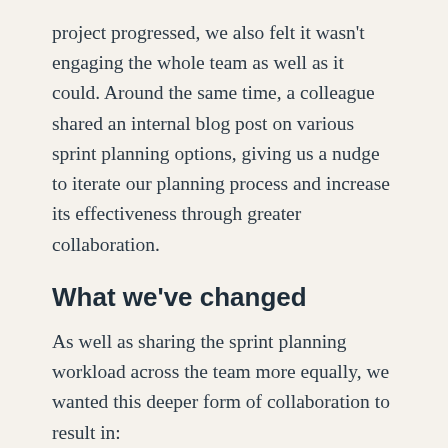project progressed, we also felt it wasn't engaging the whole team as well as it could. Around the same time, a colleague shared an internal blog post on various sprint planning options, giving us a nudge to iterate our planning process and increase its effectiveness through greater collaboration.
What we've changed
As well as sharing the sprint planning workload across the team more equally, we wanted this deeper form of collaboration to result in:
a greater shared understanding of the